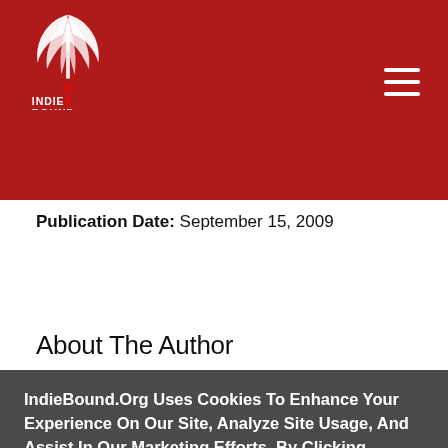[Figure (logo): IndieBound logo — white stylized bird/book pages graphic above INDIE BOUND text in white and black on red background]
Publication Date: September 15, 2009
About The Author
Karen Gray Ruelle is a decorated author who has
IndieBound.Org Uses Cookies To Enhance Your Experience On Our Site, Analyze Site Usage, And Assist In Our Marketing Efforts. By Clicking Accept, You Agree To The Storing Of Cookies On Your Device. View Our Cookie Policy.
Give me more info
Accept all Cookies